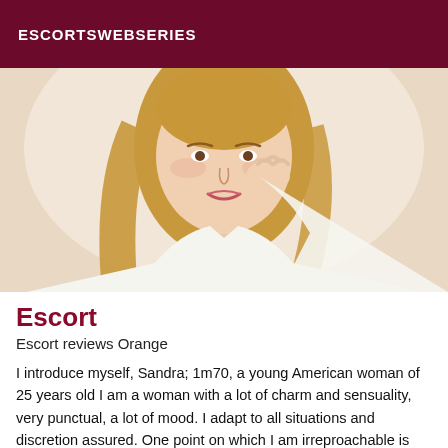ESCORTSWEBSERIES
[Figure (photo): Young blonde woman in white shirt, resting hand on cheek, looking forward]
Escort
Escort reviews Orange
I introduce myself, Sandra; 1m70, a young American woman of 25 years old I am a woman with a lot of charm and sensuality, very punctual, a lot of mood. I adapt to all situations and discretion assured. One point on which I am irreproachable is hygiene. stupid desires of any kind I'm not interested in. Felation nature Facial or body